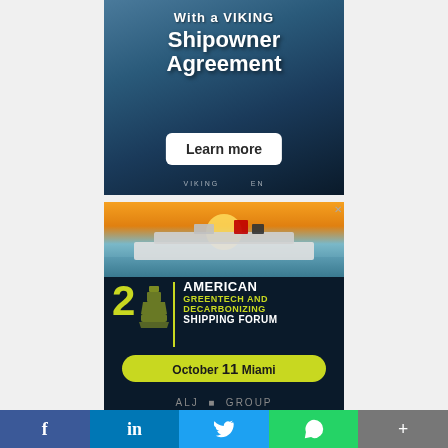[Figure (illustration): Viking Shipowner Agreement advertisement showing ocean background with text 'With a VIKING Shipowner Agreement' and a 'Learn more' button]
[Figure (illustration): American Greentech and Decarbonizing Shipping Forum advertisement by ALJ Group showing a cruise ship, event logo with ship icon and '2', date October 11 Miami, and ALJ Group logo]
[Figure (infographic): Social media sharing bar with Facebook (blue), LinkedIn (blue), Twitter (light blue), WhatsApp (green), and Share (grey) buttons]